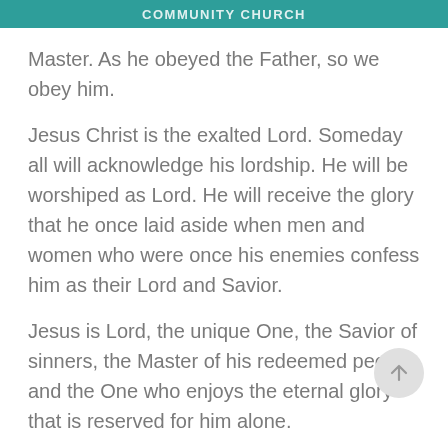COMMUNITY CHURCH
Master. As he obeyed the Father, so we obey him.
Jesus Christ is the exalted Lord. Someday all will acknowledge his lordship. He will be worshiped as Lord. He will receive the glory that he once laid aside when men and women who were once his enemies confess him as their Lord and Savior.
Jesus is Lord, the unique One, the Savior of sinners, the Master of his redeemed people, and the One who enjoys the eternal glory that is reserved for him alone.
As you prepare yourself for Easter